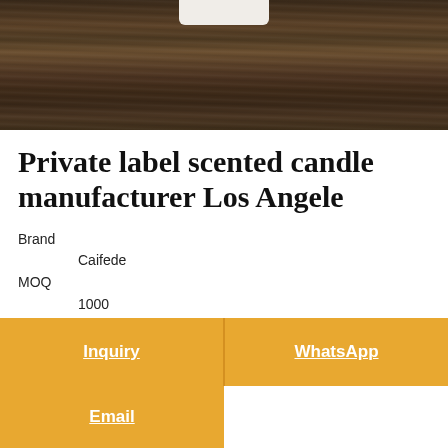[Figure (photo): Dark wooden surface/table top with a white ceramic candle jar partially visible at the top, photographed from above.]
Private label scented candle manufacturer Los Angele
Brand
    Caifede
MOQ
    1000
Material
    glass jar wax wick essential oil